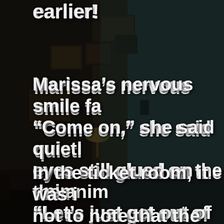[Figure (photo): Dark atmospheric interior room with vintage furniture, old TV set, framed pictures on walls, dim lamp, telephone on wall. Room has teal/dark tones suggesting an abandoned or eerie setting.]
earlier!
Marissa's nervous smile fa... "Come on," she said quietly eyes still glued on the anim "Let's just get out of here.
In the ticket room, it was i... not to note that the purple animatronic was behind th...